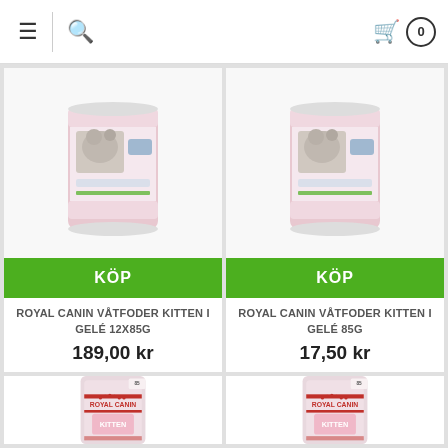Navigation bar with hamburger menu, search icon, cart icon (0 items)
[Figure (photo): Royal Canin Våtfoder Kitten i Gelé 12x85g product image - tin can]
KÖP
ROYAL CANIN VÅTFODER KITTEN I GELÉ 12X85G
189,00 kr
[Figure (photo): Royal Canin Våtfoder Kitten i Gelé 85g product image - tin can]
KÖP
ROYAL CANIN VÅTFODER KITTEN I GELÉ 85G
17,50 kr
[Figure (photo): Royal Canin Kitten wet food pouch product image - left]
[Figure (photo): Royal Canin Kitten wet food pouch product image - right]